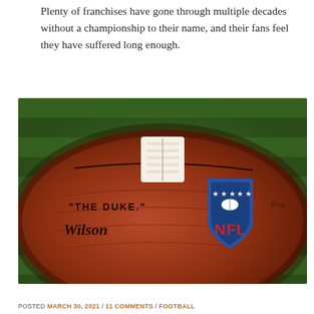Plenty of franchises have gone through multiple decades without a championship to their name, and their fans feel they have suffered long enough.
[Figure (photo): Close-up photo of an NFL Wilson 'The Duke' football showing the NFL shield logo on a grass background.]
POSTED MARCH 30, 2021 / 11 COMMENTS / FOOTBALL